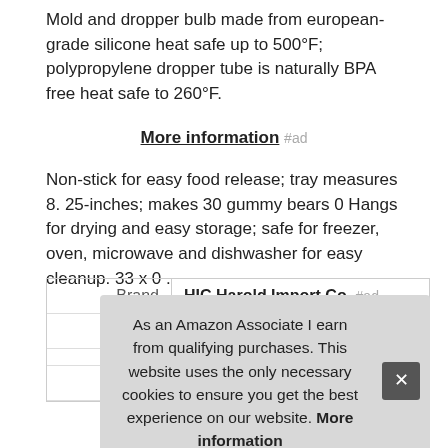Mold and dropper bulb made from european-grade silicone heat safe up to 500°F; polypropylene dropper tube is naturally BPA free heat safe to 260°F.
More information #ad
Non-stick for easy food release; tray measures 8. 25-inches; makes 30 gummy bears 0 Hangs for drying and easy storage; safe for freezer, oven, microwave and dishwasher for easy cleanup. 33 x 0 .
|  |  |
| --- | --- |
| Brand | HIC Harold Import Co. #ad |
| Ma |  |
| Width | 8 Inches |
As an Amazon Associate I earn from qualifying purchases. This website uses the only necessary cookies to ensure you get the best experience on our website. More information